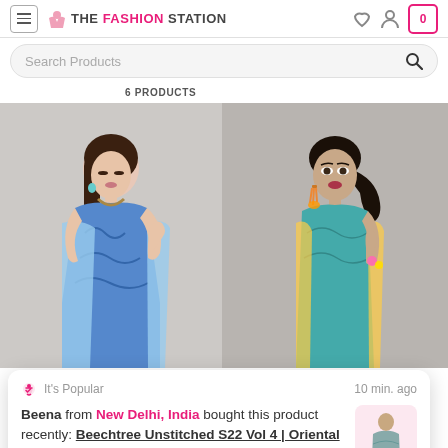THE FASHION STATION
Search Products
6 PRODUCTS
[Figure (photo): Fashion model on the left wearing blue printed traditional dress, looking down, with earrings and necklace]
[Figure (photo): Fashion model on the right wearing teal/colorful traditional outfit with orange tassel earrings, looking at camera]
It's Popular
10 min. ago
Beena from New Delhi, India bought this product recently: Beechtree Unstitched S22 Vol 4 | Oriental Craft-Printed-2P